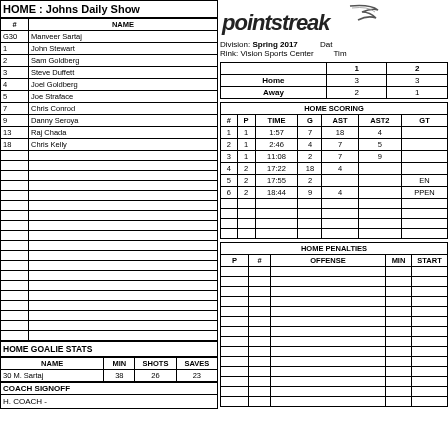HOME : Johns Daily Show
| # | NAME |
| --- | --- |
| G30 | Manveer Sartaj |
| 1 | John Stewart |
| 2 | Sam Goldberg |
| 3 | Steve Duffett |
| 4 | Joel Goldberg |
| 5 | Joe Straface |
| 7 | Chris Conrod |
| 9 | Danny Seroya |
| 13 | Raj Chada |
| 18 | Chris Kelly |
[Figure (logo): pointstreak logo]
Division: Spring 2017
Rink: Vision Sports Center
|  | 1 | 2 |
| --- | --- | --- |
| Home | 3 | 3 |
| Away | 2 | 1 |
| # | P | TIME | G | AST | AST2 | GT |
| --- | --- | --- | --- | --- | --- | --- |
| 1 | 1 | 1:57 | 7 | 18 | 4 |  |
| 2 | 1 | 2:46 | 4 | 7 | 5 |  |
| 3 | 1 | 11:08 | 2 | 7 | 9 |  |
| 4 | 2 | 17:22 | 18 | 4 |  |  |
| 5 | 2 | 17:55 | 2 |  |  | EN |
| 6 | 2 | 18:44 | 9 | 4 |  | PPEN |
| P | # | OFFENSE | MIN | START |
| --- | --- | --- | --- | --- |
HOME GOALIE STATS
| NAME | MIN | SHOTS | SAVES |
| --- | --- | --- | --- |
| 30 M. Sartaj | 38 | 26 | 23 |
COACH SIGNOFF
H. COACH -